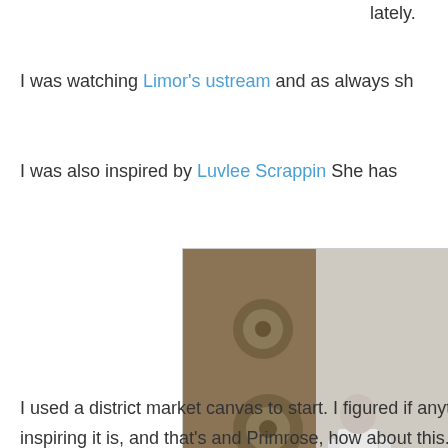lately.
I was watching Limor's ustream and as always sh
I was also inspired by Luvlee Scrappin She has
[Figure (photo): Mixed media art canvas featuring textured steampunk elements on the left side with gears, locks, and decorative carvings in earthy tones, and a black and white photo of a young boy walking on the right side. Watermark reads 'Tiffany M stampingattiTiffanys']
I used a district market canvas to start. I figured if anything the ba
inspiring it is, and that's and Primrose, how about this...